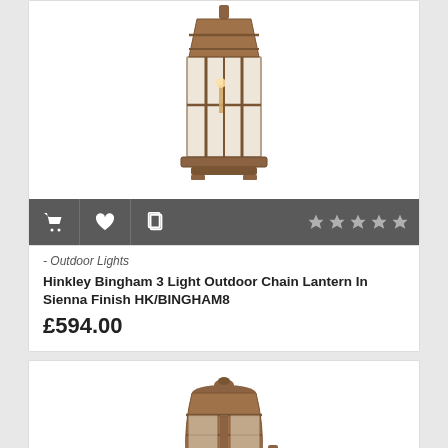[Figure (photo): Hinkley Bingham 3 Light Outdoor Chain Lantern in Sienna finish - a tall rustic bronze lantern with cage-style glass panels and candle-style bulb inside]
- Outdoor Lights
Hinkley Bingham 3 Light Outdoor Chain Lantern In Sienna Finish HK/BINGHAM8
£594.00
[Figure (photo): Second outdoor lantern product - a rustic sienna/bronze wall lantern with dome top and glass panels]